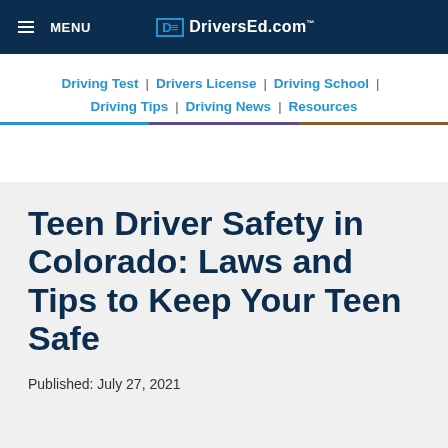≡ MENU   DE DriversEd.com
Driving Test | Drivers License | Driving School | Driving Tips | Driving News | Resources
Teen Driver Safety in Colorado: Laws and Tips to Keep Your Teen Safe
Published: July 27, 2021